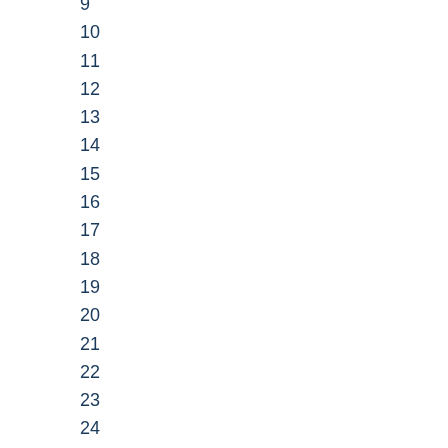9
10
11
12
13
14
15
16
17
18
19
20
21
22
23
24
25
26
27
28
29